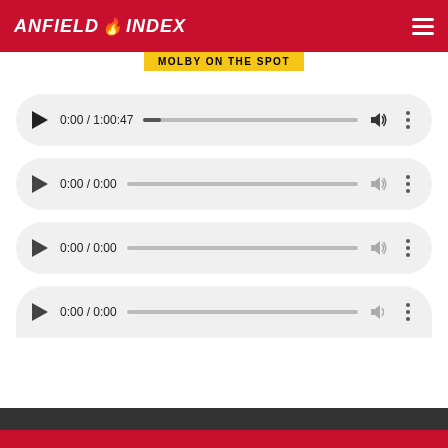ANFIELD INDEX
MOLBY ON THE SPOT
[Figure (screenshot): Audio player 1: 0:00 / 1:00:47 with progress bar, volume and more options icons]
[Figure (screenshot): Audio player 2: 0:00 / 0:00 with progress bar, volume and more options icons]
[Figure (screenshot): Audio player 3: 0:00 / 0:00 with progress bar, volume and more options icons]
[Figure (screenshot): Audio player 4 (partial): 0:00 / 0:00 with progress bar, volume and more options icons]